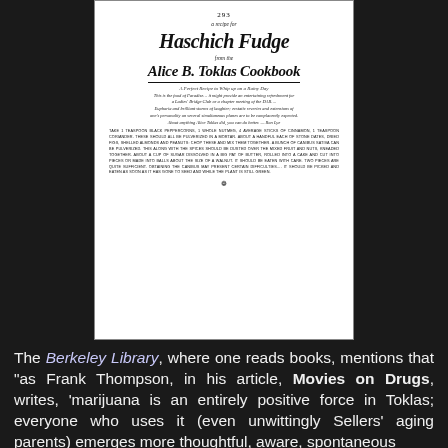[Figure (illustration): Scanned/printed recipe page for Haschich Fudge from the Alice B. Toklas Cookbook, with decorative blackletter typography, italic introductory text, and uppercase recipe instructions. Page number 293 at top, ornamental footer mark at bottom.]
The Berkeley Library, where one reads books, mentions that "as Frank Thompson, in his article, Movies on Drugs, writes, 'marijuana is an entirely positive force in Toklas; everyone who uses it (even unwittingly Sellers' aging parents) emerges more thoughtful, aware, spontaneous